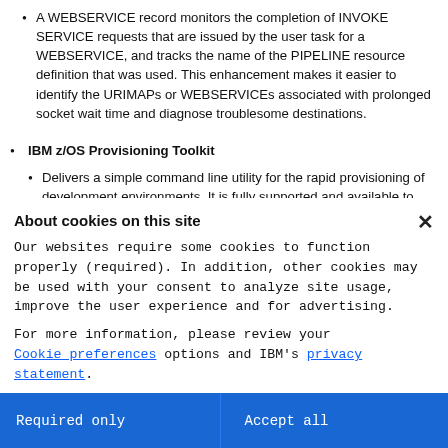A WEBSERVICE record monitors the completion of INVOKE SERVICE requests that are issued by the user task for a WEBSERVICE, and tracks the name of the PIPELINE resource definition that was used. This enhancement makes it easier to identify the URIMAPs or WEBSERVICEs associated with prolonged socket wait time and diagnose troublesome destinations.
IBM z/OS Provisioning Toolkit
Delivers a simple command line utility for the rapid provisioning of development environments. It is fully supported and available to existing clients of IBM z/OS
About cookies on this site
Our websites require some cookies to function properly (required). In addition, other cookies may be used with your consent to analyze site usage, improve the user experience and for advertising.

For more information, please review your Cookie preferences options and IBM's privacy statement.
Required only
Accept all